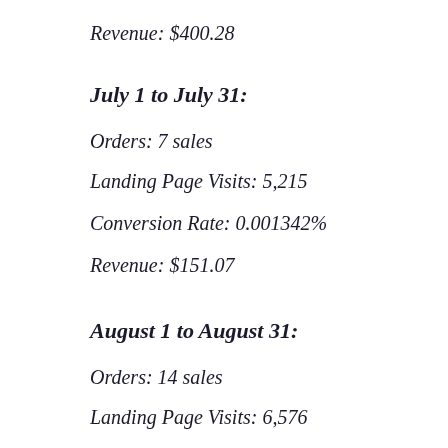Revenue: $400.28
July 1 to July 31:
Orders: 7 sales
Landing Page Visits: 5,215
Conversion Rate: 0.001342%
Revenue: $151.07
August 1 to August 31:
Orders: 14 sales
Landing Page Visits: 6,576
Conversion Rate: 0.002129%